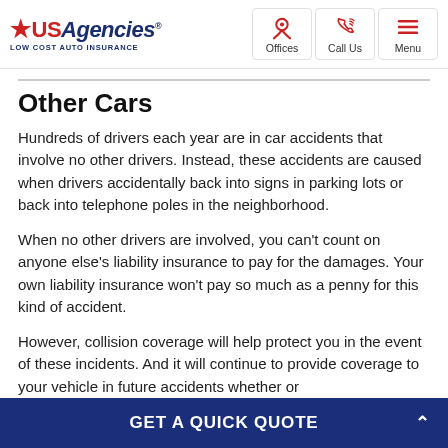[Figure (logo): USAgencies Low Cost Auto Insurance logo with red star and navigation icons for Offices, Call Us, Menu]
Other Cars
Hundreds of drivers each year are in car accidents that involve no other drivers. Instead, these accidents are caused when drivers accidentally back into signs in parking lots or back into telephone poles in the neighborhood.
When no other drivers are involved, you can't count on anyone else's liability insurance to pay for the damages. Your own liability insurance won't pay so much as a penny for this kind of accident.
However, collision coverage will help protect you in the event of these incidents. And it will continue to provide coverage to your vehicle in future accidents whether or
GET A QUICK QUOTE